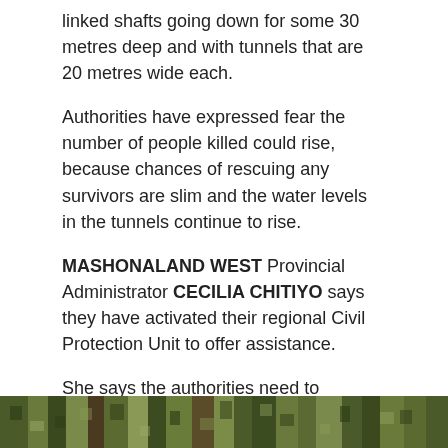linked shafts going down for some 30 metres deep and with tunnels that are 20 metres wide each.
Authorities have expressed fear the number of people killed could rise, because chances of rescuing any survivors are slim and the water levels in the tunnels continue to rise.
MASHONALAND WEST Provincial Administrator CECILIA CHITIYO says they have activated their regional Civil Protection Unit to offer assistance.
She says the authorities need to mobilise more pumps urgently because the water levels are continuously rising from beneath, and they are not sure if the affected miners had not reached an aquifer below.
[Figure (photo): Partial photo strip at bottom of page showing a green outdoor/forest scene, pixelated/low resolution]